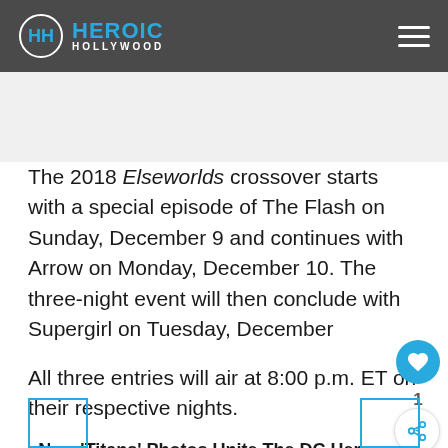Heroic Hollywood
The 2018 Elseworlds crossover starts with a special episode of The Flash on Sunday, December 9 and continues with Arrow on Monday, December 10. The three-night event will then conclude with Supergirl on Tuesday, December
All three entries will air at 8:00 p.m. ET on their respective nights.
New ‘Titans’ Photos Unite The DC Heroes & The Doom Patrol